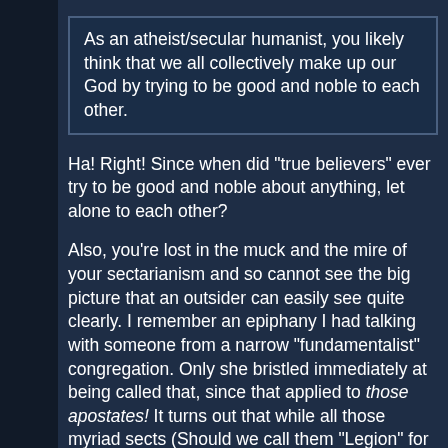As an atheist/secular humanist, you likely think that we all collectively make up our God by trying to be good and noble to each other.
Ha! Right! Since when did "true believers" ever try to be good and noble about anything, let alone to each other?
Also, you're lost in the muck and the mire of your sectarianism and so cannot see the big picture that an outsider can easily see quite clearly. I remember an epiphany I had talking with someone from a narrow "fundamentalist" congregation. Only she bristled immediately at being called that, since that applied to those apostates! It turns out that while all those myriad sects (Should we call them "Legion" for they are many? Please don't tell me that Bible reference went right over your head.) that are virtually identical to each other in almost every single way as to be indistinguishable to external observers, whereas among them each one they are to be divided...